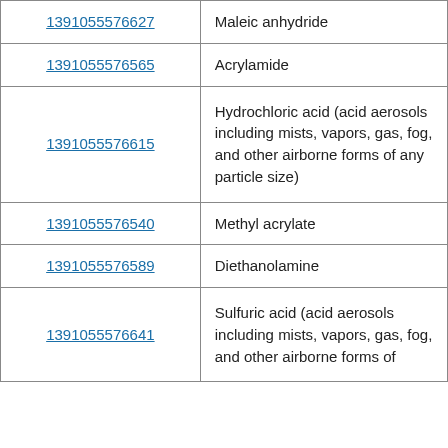| ID | Substance |
| --- | --- |
| 1391055576627 | Maleic anhydride |
| 1391055576565 | Acrylamide |
| 1391055576615 | Hydrochloric acid (acid aerosols including mists, vapors, gas, fog, and other airborne forms of any particle size) |
| 1391055576540 | Methyl acrylate |
| 1391055576589 | Diethanolamine |
| 1391055576641 | Sulfuric acid (acid aerosols including mists, vapors, gas, fog, and other airborne forms of |